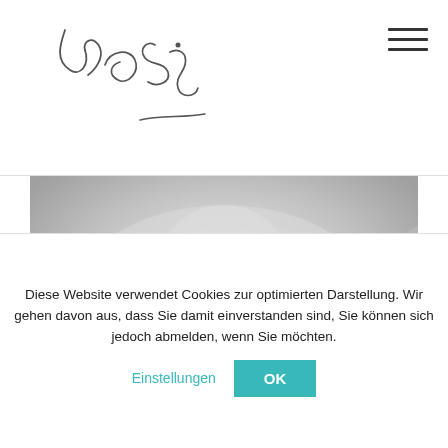[Figure (logo): Handwritten signature logo resembling 'Jeo Sig' in cursive script]
[Figure (photo): Black and white close-up photo of a person wearing a white garment with a small floral detail, arms raised]
[Figure (infographic): Social media share icons: Twitter bird, Facebook f, Google G+]
Diese Website verwendet Cookies zur optimierten Darstellung. Wir gehen davon aus, dass Sie damit einverstanden sind, Sie können sich jedoch abmelden, wenn Sie möchten.
Einstellungen
OK